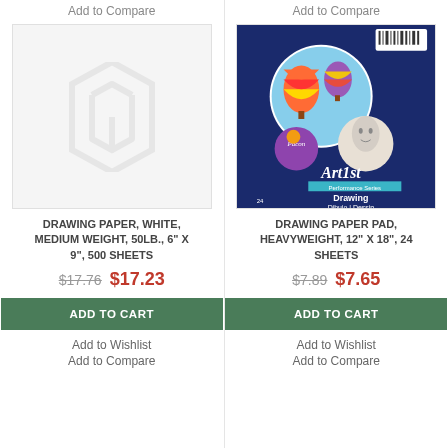Add to Compare
[Figure (photo): Placeholder image with Magento logo for Drawing Paper, White, Medium Weight, 50lb., 6" x 9", 500 Sheets]
DRAWING PAPER, WHITE, MEDIUM WEIGHT, 50LB., 6" X 9", 500 SHEETS
$17.76  $17.23
ADD TO CART
Add to Wishlist
Add to Compare
Add to Compare
[Figure (photo): Pacon Art1st Drawing Paper Pad, Heavyweight, 12" x 18", 24 Sheets product image showing colorful hot air balloons and a sketch of a face on a dark blue pad]
DRAWING PAPER PAD, HEAVYWEIGHT, 12" X 18", 24 SHEETS
$7.89  $7.65
ADD TO CART
Add to Wishlist
Add to Compare